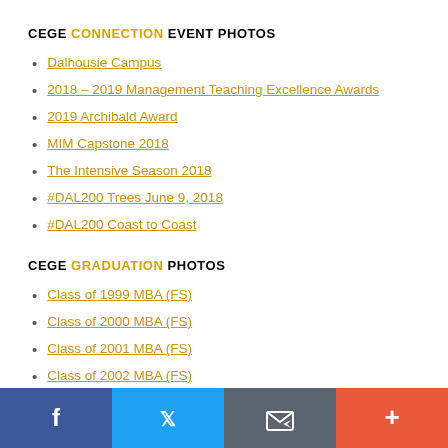CEGE CONNECTION EVENT PHOTOS
Dalhousie Campus
2018 – 2019 Management Teaching Excellence Awards
2019 Archibald Award
MIM Capstone 2018
The Intensive Season 2018
#DAL200 Trees June 9, 2018
#DAL200 Coast to Coast
CEGE GRADUATION PHOTOS
Class of 1999 MBA (FS)
Class of 2000 MBA (FS)
Class of 2001 MBA (FS)
Class of 2002 MBA (FS)
Class of 2003 MBA (FS)